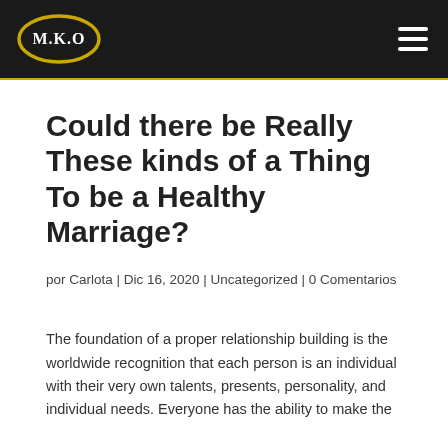M.K.O [logo]
Could there be Really These kinds of a Thing To be a Healthy Marriage?
por Carlota | Dic 16, 2020 | Uncategorized | 0 Comentarios
The foundation of a proper relationship building is the worldwide recognition that each person is an individual with their very own talents, presents, personality, and individual needs. Everyone has the ability to make the